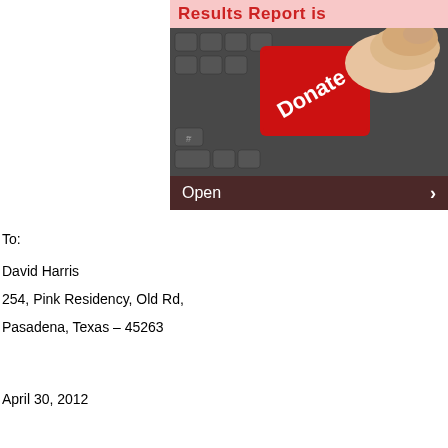Results Report is
[Figure (photo): A red 'Donate' keyboard key being pressed by a finger on a dark keyboard, with an 'Open' navigation bar overlay at the bottom.]
To:
David Harris
254, Pink Residency, Old Rd,
Pasadena, Texas – 45263
April 30, 2012